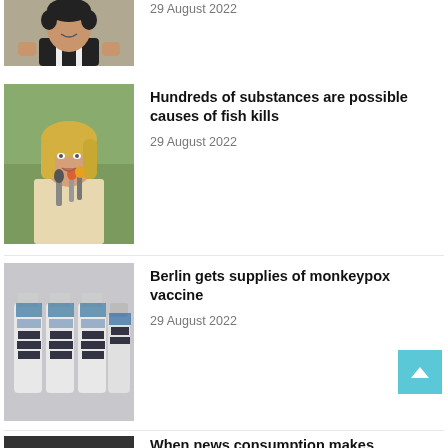[Figure (photo): Partial top news item: person with dark curly hair in sports jacket, fists raised, smiling]
29 August 2022
[Figure (photo): Woman with blonde hair speaking into microphones at a press conference, outdoors]
Hundreds of substances are possible causes of fish kills
29 August 2022
[Figure (photo): Multiple vaccine vials with blue labels lined up]
Berlin gets supplies of monkeypox vaccine
29 August 2022
[Figure (photo): The Pope in white vestments bowing or praying, crowd in background]
The Pope thinks of withdrawing
29 August 2022
[Figure (photo): Partial bottom news item: dark image, partial view]
When news consumption makes